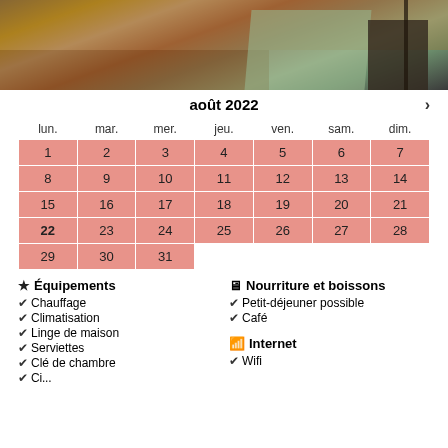[Figure (photo): Top portion of a room photo showing wooden floor and furniture with green fabric]
| lun. | mar. | mer. | jeu. | ven. | sam. | dim. |
| --- | --- | --- | --- | --- | --- | --- |
| 1 | 2 | 3 | 4 | 5 | 6 | 7 |
| 8 | 9 | 10 | 11 | 12 | 13 | 14 |
| 15 | 16 | 17 | 18 | 19 | 20 | 21 |
| 22 | 23 | 24 | 25 | 26 | 27 | 28 |
| 29 | 30 | 31 |  |  |  |  |
août 2022
★ Équipements
✔ Chauffage
✔ Climatisation
✔ Linge de maison
✔ Serviettes
✔ Clé de chambre
🍽 Nourriture et boissons
✔ Petit-déjeuner possible
✔ Café
📶 Internet
✔ Wifi